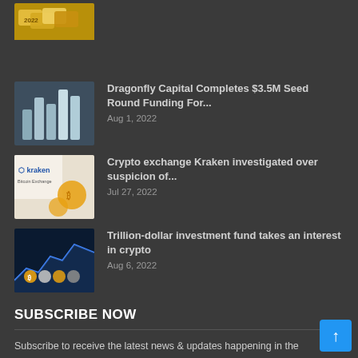[Figure (photo): Partial thumbnail of gold coins/crypto investment image at top]
[Figure (photo): Stacked silver coins thumbnail for Dragonfly Capital article]
Dragonfly Capital Completes $3.5M Seed Round Funding For...
Aug 1, 2022
[Figure (photo): Kraken Bitcoin Exchange logo with coins thumbnail]
Crypto exchange Kraken investigated over suspicion of...
Jul 27, 2022
[Figure (photo): Cryptocurrency coins with city skyline blue chart background thumbnail]
Trillion-dollar investment fund takes an interest in crypto
Aug 6, 2022
SUBSCRIBE NOW
Subscribe to receive the latest news & updates happening in the blockchain & cryptocurrency market. Receive latest promotions happening in ATF platform too. NOTE: By Subscribing and entering your e-mail address & name, you automatically consent AsiaTokenFund to full